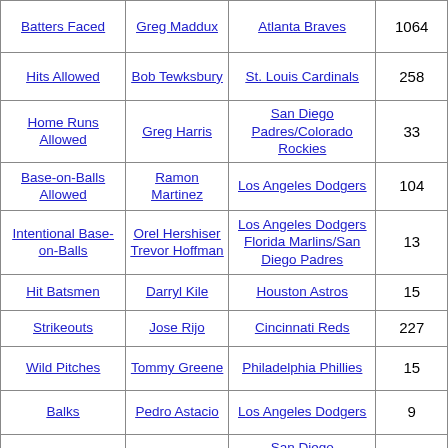| Stat | Player | Team | Value |
| --- | --- | --- | --- |
| Batters Faced | Greg Maddux | Atlanta Braves | 1064 |
| Hits Allowed | Bob Tewksbury | St. Louis Cardinals | 258 |
| Home Runs Allowed | Greg Harris | San Diego Padres/Colorado Rockies | 33 |
| Base-on-Balls Allowed | Ramon Martinez | Los Angeles Dodgers | 104 |
| Intentional Base-on-Balls | Orel Hershiser Trevor Hoffman | Los Angeles Dodgers Florida Marlins/San Diego Padres | 13 |
| Hit Batsmen | Darryl Kile | Houston Astros | 15 |
| Strikeouts | Jose Rijo | Cincinnati Reds | 227 |
| Wild Pitches | Tommy Greene | Philadelphia Phillies | 15 |
| Balks | Pedro Astacio | Los Angeles Dodgers | 9 |
| Runs Allowed | Greg Harris | San Diego Padres/Colorado | 127 |